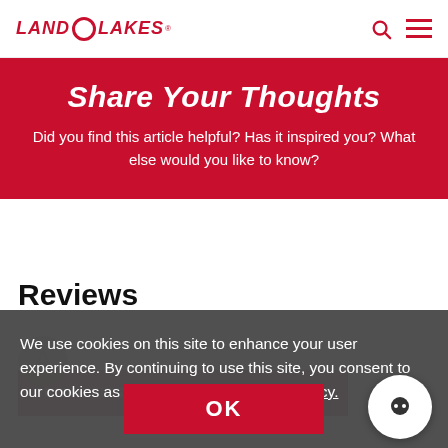LAND O LAKES
Share Your Thoughts
Did you find this article helpful? Has it inspired you? What else would you like to know?
Reviews
We use cookies on this site to enhance your user experience. By continuing to use this site, you consent to our cookies as described in our Privacy Policy.
BE THE FIRST TO REVIEW THIS PRODUCT
OK